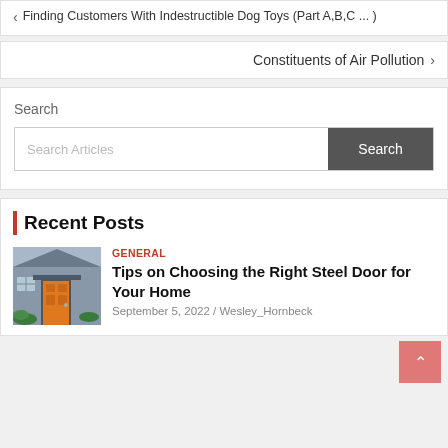< Finding Customers With Indestructible Dog Toys (Part A,B,C ...)
Constituents of Air Pollution >
Search
Search Articles | Search
Recent Posts
GENERAL
Tips on Choosing the Right Steel Door for Your Home
September 5, 2022 / Wesley_Hornbeck
[Figure (photo): Photo of a house entrance with an orange/red steel door on a blue-grey house with green plants]